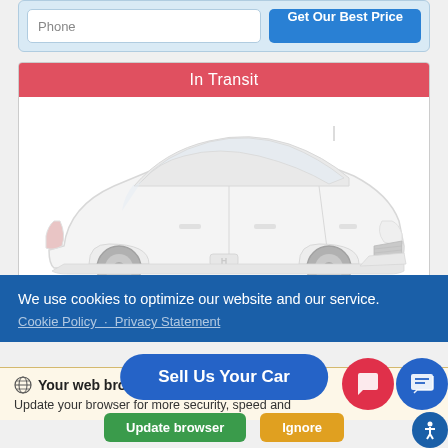[Figure (screenshot): Phone input field with placeholder 'Phone' and a blue 'Get Our Best Price' button]
In Transit
[Figure (photo): White Honda Civic sedan shown in a faded/ghosted style indicating in-transit status]
We use cookies to optimize our website and our service.
Cookie Policy · Privacy Statement
Your web browser (iOS 11) is out of date.
Update your browser for more security, speed and compatibility.
Sell Us Your Car
Update browser
Ignore